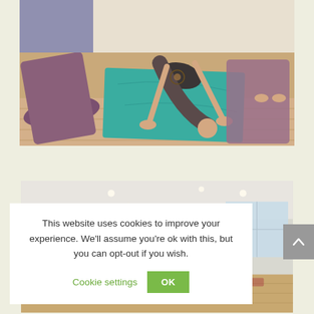[Figure (photo): Person performing a yoga forward fold pose on a teal/green yoga mat on a wooden floor. Another person visible on a purple mat in the background. The main person has a sun tattoo on their back.]
[Figure (photo): Yoga class in a bright studio room with recessed ceiling lights and windows. Several students seated/practicing on mats while an instructor in a blue turban leads the class.]
This website uses cookies to improve your experience. We'll assume you're ok with this, but you can opt-out if you wish.
Cookie settings  OK